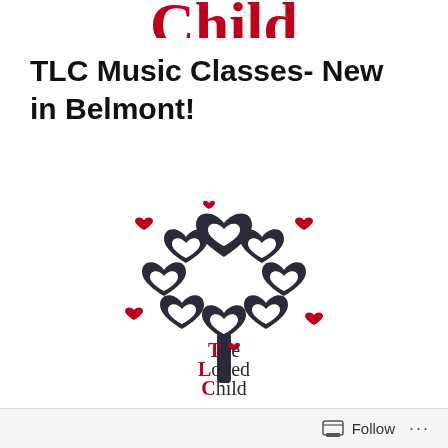Child
TLC Music Classes- New in Belmont!
[Figure (logo): The Loved Child logo: a stylized tree made of heart shapes in black with small red hearts, above the text 'The Loved Child' where T, L, and C are in dark red and the rest in black serif font]
Follow